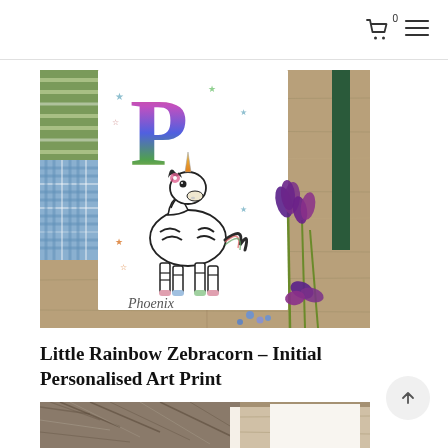Cart (0) | Menu
[Figure (photo): Product photo of a personalised art print featuring a rainbow letter P with a zebracorn (zebra unicorn) and the name Phoenix, displayed on a wooden surface with purple flowers and fabric swatches]
Little Rainbow Zebracorn – Initial Personalised Art Print
[Figure (photo): Partial product photo showing a second product with fur-like texture on wooden surface]